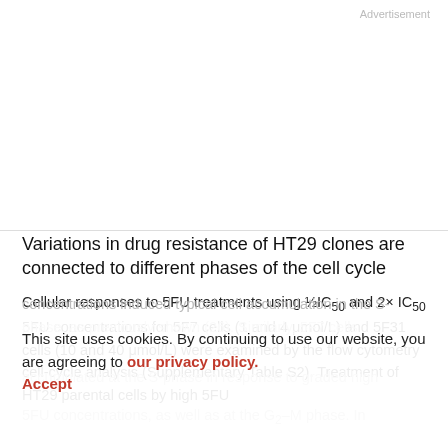Advertisement
Variations in drug resistance of HT29 clones are connected to different phases of the cell cycle
Cellular responses to 5FU treatments using ½IC₅₀ and 2× IC₅₀ 5FU concentrations for 5F7 cells (1 and 4 μmol/L) and 5F31 cells (10 and 40 μmol/L) were examined by the flow cytometry cell-cycle analysis (Supplementary Table S2). Treatment of HT29 parental cells by high 5FU concentrations induced typical cell accumulation in the S-phase, as previously shown (26). Similarly, 5F7 cells accumulated at the S-phase in response to graded high 5FU concentrations, as well as at the G₂–M phase. In
This site uses cookies. By continuing to use our website, you are agreeing to our privacy policy.
Accept